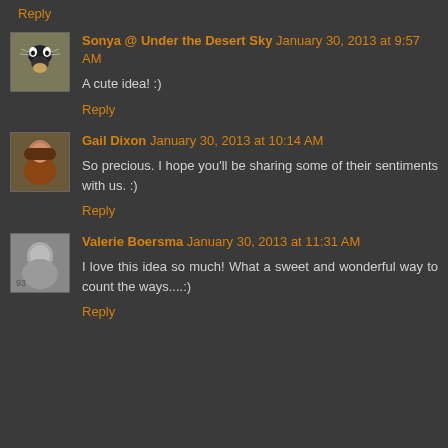Reply
Sonya @ Under the Desert Sky January 30, 2013 at 9:57 AM
A cute idea! :)
Reply
Gail Dixon January 30, 2013 at 10:14 AM
So precious. I hope you'll be sharing some of their sentiments with us. :)
Reply
Valerie Boersma January 30, 2013 at 11:31 AM
I love this idea so much! What a sweet and wonderful way to count the ways....:)
Reply